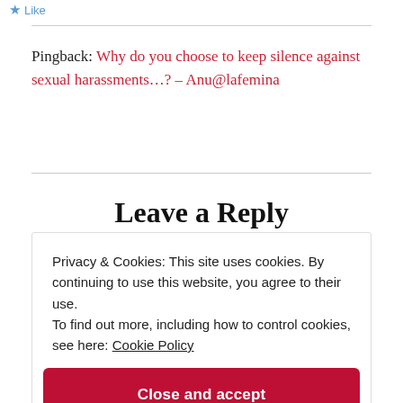Like
Pingback: Why do you choose to keep silence against sexual harassments…? – Anu@lafemina
Leave a Reply
Privacy & Cookies: This site uses cookies. By continuing to use this website, you agree to their use.
To find out more, including how to control cookies, see here: Cookie Policy
Close and accept